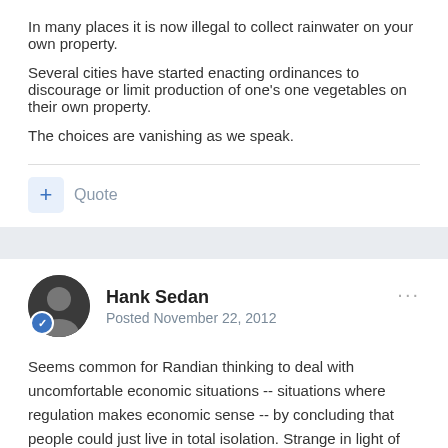In many places it is now illegal to collect rainwater on your own property.
Several cities have started enacting ordinances to discourage or limit production of one's one vegetables on their own property.
The choices are vanishing as we speak.
Quote
Hank Sedan
Posted November 22, 2012
Seems common for Randian thinking to deal with uncomfortable economic situations -- situations where regulation makes economic sense -- by concluding that people could just live in total isolation. Strange in light of economics being all about exchange.